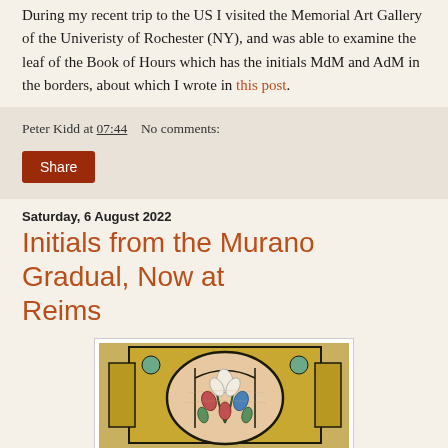During my recent trip to the US I visited the Memorial Art Gallery of the Univeristy of Rochester (NY), and was able to examine the leaf of the Book of Hours which has the initials MdM and AdM in the borders, about which I wrote in this post.
Peter Kidd at 07:44   No comments:
Share
Saturday, 6 August 2022
Initials from the Murano Gradual, Now at Reims
[Figure (photo): Illuminated initial letter (D or O) from a medieval gradual, showing floral/lily decorations in blue, pink, and white on a golden ochre background with dark outlines, from the Murano Gradual.]